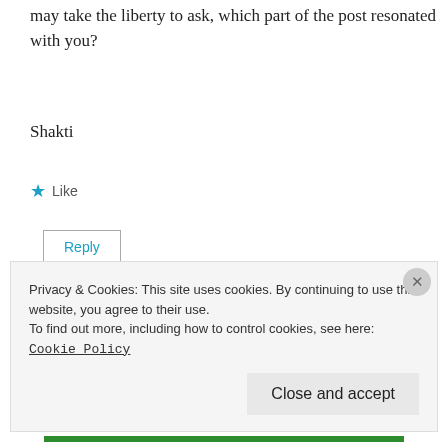may take the liberty to ask, which part of the post resonated with you?
Shakti
Like
Reply
Liz Rice-Sosne
Privacy & Cookies: This site uses cookies. By continuing to use this website, you agree to their use. To find out more, including how to control cookies, see here: Cookie Policy
Close and accept